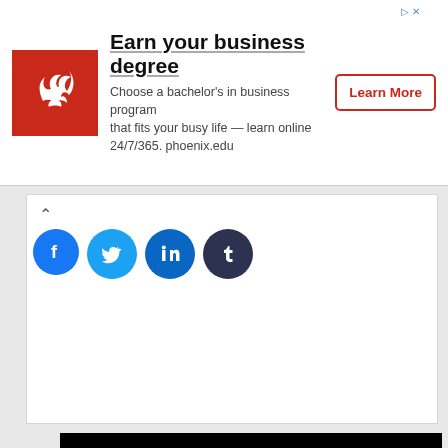[Figure (infographic): University of Phoenix ad banner: red logo with white phoenix bird, headline 'Earn your business degree', subtext 'Choose a bachelor's in business program that fits your busy life — learn online 24/7/365. phoenix.edu', and a red-bordered 'Learn More' button. Small ad tag icons in top right.]
[Figure (infographic): Social sharing widget with up arrow and four circular social media icons: Facebook (blue), Twitter (cyan), LinkedIn (dark blue), Tumblr (dark navy).]
[Figure (infographic): University of Twente scholarship advertisement on black background with pink spiral dot logo, text 'UNIVERSITY OF TWENTE.', 'International Masters Scholarships for Women at University of Twente in Netherlands, 2017', and pink text '€ 7,500 per year for the full duration of your Master's programme.']